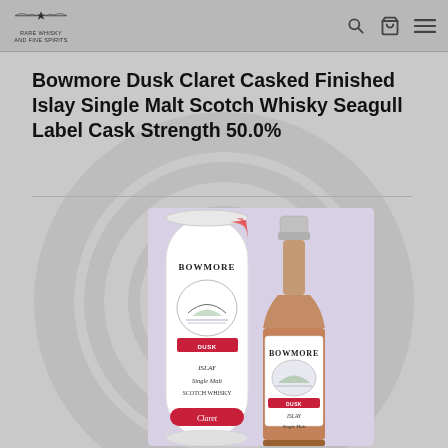RARE WHISKY AND FINE SPIRITS
Bowmore Dusk Claret Casked Finished Islay Single Malt Scotch Whisky Seagull Label Cask Strength 50.0%
[Figure (photo): Product photo of Bowmore Dusk Claret Casked Islay Single Malt Scotch Whisky bottle and cylindrical gift tube packaging. The bottle has an amber/rose-tinted spirit and a Bowmore Seagull Label design with red Claret banner. The white tube has matching Bowmore label art.]